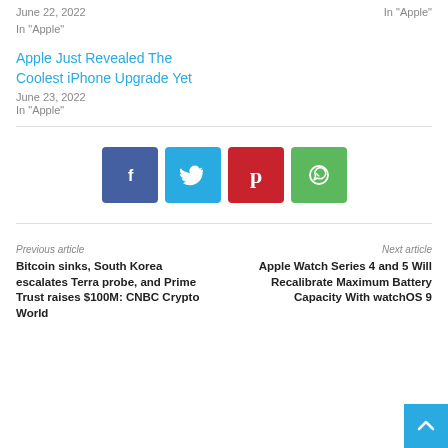June 22, 2022
In "Apple"
In "Apple"
Apple Just Revealed The Coolest iPhone Upgrade Yet
June 23, 2022
In "Apple"
[Figure (infographic): Social share buttons: Facebook (blue-purple), Twitter (sky blue), Pinterest (red), WhatsApp (green)]
Previous article
Bitcoin sinks, South Korea escalates Terra probe, and Prime Trust raises $100M: CNBC Crypto World
Next article
Apple Watch Series 4 and 5 Will Recalibrate Maximum Battery Capacity With watchOS 9